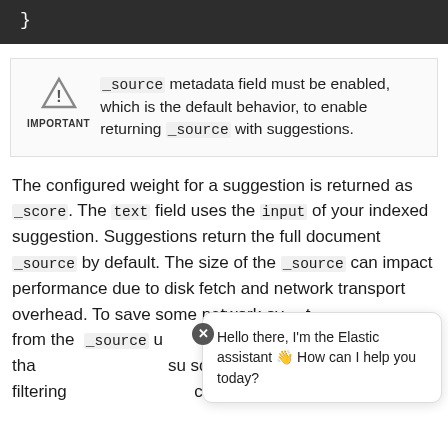}
_source metadata field must be enabled, which is the default behavior, to enable returning _source with suggestions.
The configured weight for a suggestion is returned as _score. The text field uses the input of your indexed suggestion. Suggestions return the full document _source by default. The size of the _source can impact performance due to disk fetch and network transport overhead. To save some network overhead, you can filter fields from the _source using source_includes and source_excludes size. Note that these parameters cannot be used with suggestion source filtering but using suggest on the _search ch